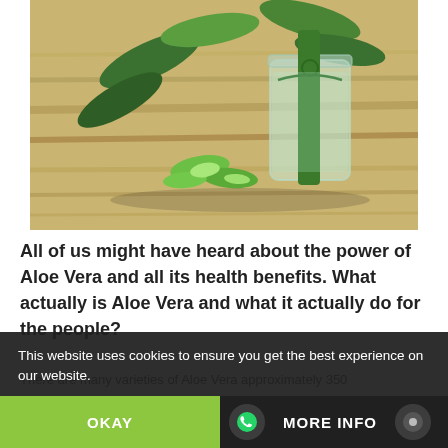[Figure (photo): Photo of aloe vera plant leaves and sliced pieces next to a glass jar with aloe vera gel, placed on a wooden surface]
All of us might have heard about the power of Aloe Vera and all its health benefits. What actually is Aloe Vera and what it actually do for the people?
There are many varieties of Aloe Vera approximately 350
This website uses cookies to ensure you get the best experience on our website.